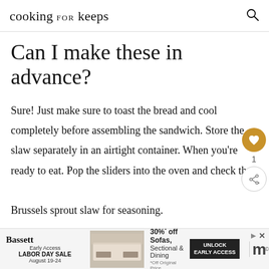cooking for keeps
Can I make these in advance?
Sure! Just make sure to toast the bread and cool completely before assembling the sandwich. Store the slaw separately in an airtight container. When you’re ready to eat. Pop the sliders into the oven and check the Brussels sprout slaw for seasoning.
You can make them up to 24 hours in advance.
[Figure (other): Advertisement banner for Bassett furniture: Early Access Labor Day Sale August 19-24, 30% off Sofas, Sectional & Dining. Unlock Early Access button shown.]